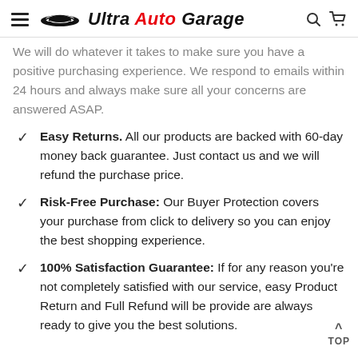Ultra Auto Garage
We will do whatever it takes to make sure you have a positive purchasing experience. We respond to emails within 24 hours and always make sure all your concerns are answered ASAP.
Easy Returns. All our products are backed with 60-day money back guarantee. Just contact us and we will refund the purchase price.
Risk-Free Purchase: Our Buyer Protection covers your purchase from click to delivery so you can enjoy the best shopping experience.
100% Satisfaction Guarantee: If for any reason you're not completely satisfied with our service, easy Product Return and Full Refund will be provided. are always ready to give you the best solutions.